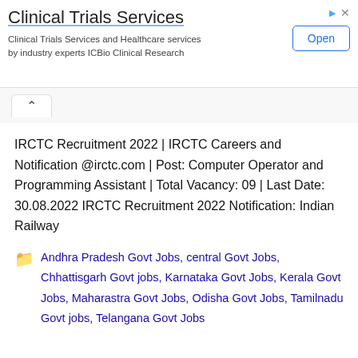[Figure (screenshot): Advertisement banner for Clinical Trials Services with title, subtitle, and Open button]
IRCTC Recruitment 2022 | IRCTC Careers and Notification @irctc.com | Post: Computer Operator and Programming Assistant | Total Vacancy: 09 | Last Date: 30.08.2022 IRCTC Recruitment 2022 Notification: Indian Railway
Andhra Pradesh Govt Jobs, central Govt Jobs, Chhattisgarh Govt jobs, Karnataka Govt Jobs, Kerala Govt Jobs, Maharastra Govt Jobs, Odisha Govt Jobs, Tamilnadu Govt jobs, Telangana Govt Jobs